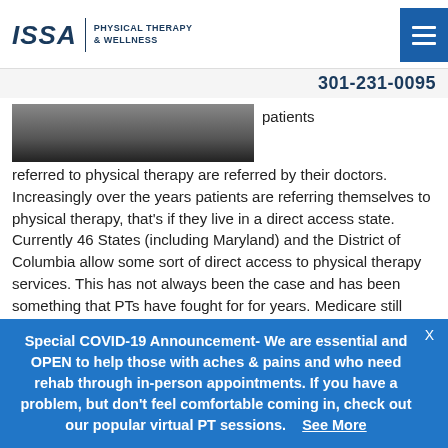ISSA PHYSICAL THERAPY & WELLNESS
301-231-0095
patients referred to physical therapy are referred by their doctors. Increasingly over the years patients are referring themselves to physical therapy, that's if they live in a direct access state. Currently 46 States (including Maryland) and the District of Columbia allow some sort of direct access to physical therapy services. This has not always been the case and has been something that PTs have fought for for years. Medicare still requires a prescription for physical therapy and the American Physical Therapy Association (APTA) continues to aggressively lobby for direct access for Medicare patients.
Special COVID-19 Announcement- We are essential and OPEN to help those with aches & pains and who need rehab through in-person appointments. If you have a problem, but don't feel comfortable coming in, check out our popular virtual PT sessions. See More